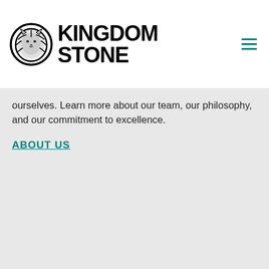[Figure (logo): Kingdom Stone logo with a lion head inside a black circle and bold text 'KINGDOM STONE' to its right]
ourselves. Learn more about our team, our philosophy, and our commitment to excellence.
ABOUT US